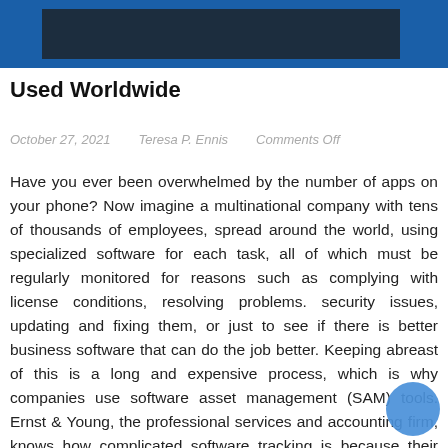[header image with dark banner]
Used Worldwide
October 27, 2021    Teresa P. Ennis    Comments Off
Have you ever been overwhelmed by the number of apps on your phone? Now imagine a multinational company with tens of thousands of employees, spread around the world, using specialized software for each task, all of which must be regularly monitored for reasons such as complying with license conditions, resolving problems. security issues, updating and fixing them, or just to see if there is better business software that can do the job better. Keeping abreast of this is a long and expensive process, which is why companies use software asset management (SAM) tools. Ernst & Young, the professional services and accounting firm, knows how complicated software tracking is because their clients regularly ask them to help them manage it. So